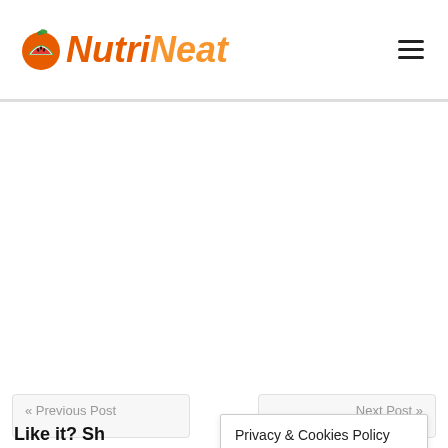NutriNeat
« Previous Post
Next Post »
Like it? Sh
Privacy & Cookies Policy